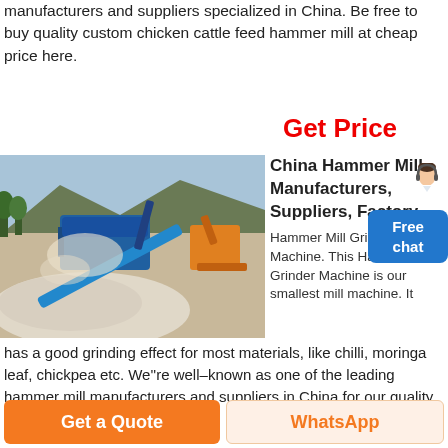manufacturers and suppliers specialized in China. Be free to buy quality custom chicken cattle feed hammer mill at cheap price here.
Get Price
[Figure (photo): Industrial hammer mill / crusher machine at a quarry site. Blue machinery with conveyor belt, excavator in background, pile of crushed stone material in foreground.]
China Hammer Mill Manufacturers, Suppliers, Factory
Hammer Mill Grinder Machine. This Hammer Mill Grinder Machine is our smallest mill machine. It has a good grinding effect for most materials, like chilli, moringa leaf, chickpea etc. We''re well–known as one of the leading hammer mill manufacturers and suppliers in China for our quality products and good service.
Get a Quote
WhatsApp